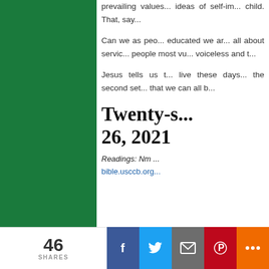[Figure (photo): Large dark green rectangular panel occupying the left portion of the page]
prevailing values... ideas of self-im... child. That, say...
Can we as peo... educated we ar... all about servic... people most vu... voiceless and t...
Jesus tells us t... live these days... the second set... that we can all b...
Twenty-s... 26, 2021
Readings: Nm ...
bible.usccb.org...
46 SHARES  [Facebook] [Twitter] [Email] [Pinterest] [More]